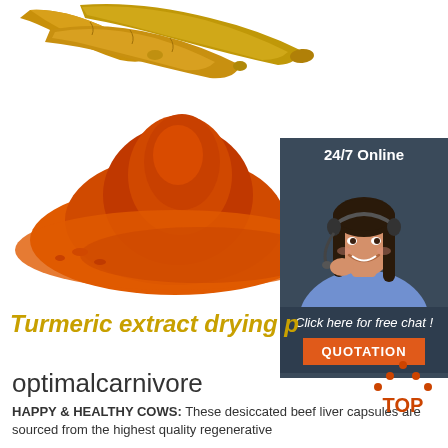[Figure (photo): Turmeric roots and orange turmeric powder on white background]
[Figure (photo): 24/7 Online chat panel with female customer service agent wearing headset, blue-shirted, smiling. Includes 'Click here for free chat!' text and orange 'QUOTATION' button.]
Turmeric extract drying p
optimalcarnivore
[Figure (logo): TOP logo with orange triangle/arrow design above the text TOP in orange]
HAPPY & HEALTHY COWS: These desiccated beef liver capsules are sourced from the highest quality regenerative